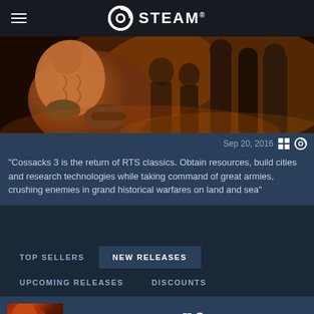STEAM
[Figure (screenshot): Steam store page screenshot showing Cossacks 3 game banner image with warrior figure]
Sep 20, 2016
“Cossacks 3 is the return of RTS classics. Obtain resources, build cities and research technologies while taking command of great armies, crushing enemies in grand historical warfares on land and sea”
TOP SELLERS
NEW RELEASES
UPCOMING RELEASES
DISCOUNTS
COSSACKS 3  Sep 20, 2016